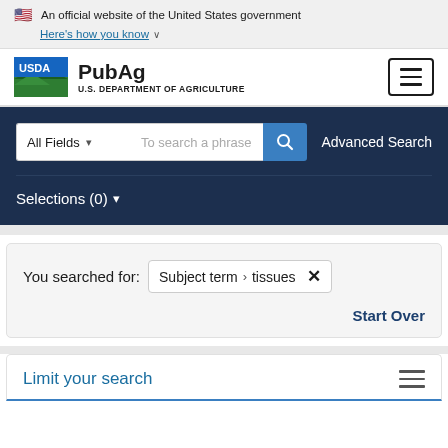An official website of the United States government Here's how you know
[Figure (logo): USDA PubAg logo with US flag icon and hamburger menu button]
All Fields | To search a phrase | Advanced Search
Selections (0)
You searched for: Subject term > tissues ✕
Start Over
Limit your search